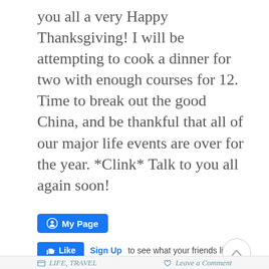you all a very Happy Thanksgiving!  I will be attempting to cook a dinner for two with enough courses for 12.  Time to break out the good China, and be thankful that all of our major life events are over for the year.  *Clink*  Talk to you all again soon!
[Figure (other): Blue Facebook 'My Page' button with circular icon]
[Figure (other): Facebook Like button and Sign Up link with text 'to see what your friends like.' and an up-arrow circle button]
LIFE, TRAVEL    Leave a Comment